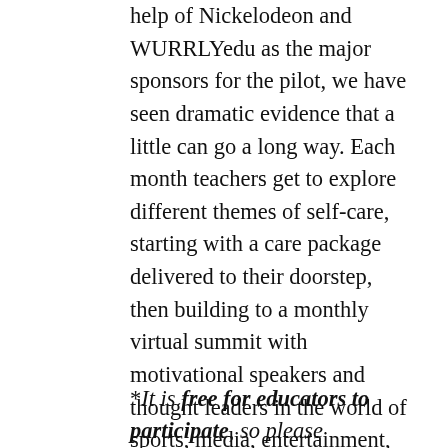help of Nickelodeon and WURRLYedu as the major sponsors for the pilot, we have seen dramatic evidence that a little can go a long way. Each month teachers get to explore different themes of self-care, starting with a care package delivered to their doorstep, then building to a monthly virtual summit with motivational speakers and thought leaders in the world of sports, media, entertainment, and business. Lastly, teachers are encouraged to reflect on how they can turn this into action for themselves, with the aim of refueling and inspiring them.
*It is free for educators to participate, so please